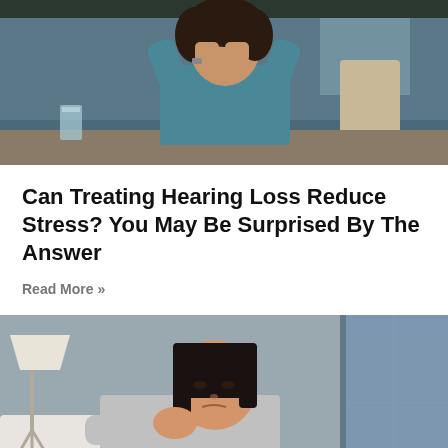[Figure (photo): Woman with curly hair holding her head in both hands, sitting at a desk with a glass of water and papers, appearing stressed]
Can Treating Hearing Loss Reduce Stress? You May Be Surprised By The Answer
Read More »
[Figure (photo): Asian woman resting her chin on her hand, sitting on a couch with a lamp and window in the background, looking sad or worried]